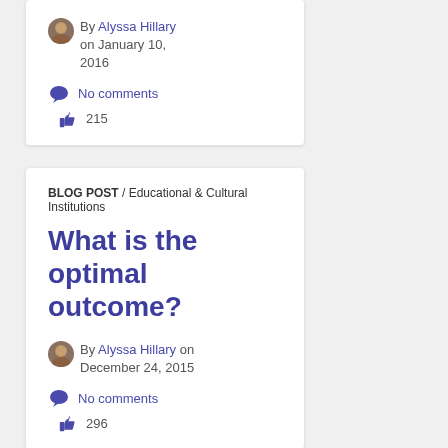By Alyssa Hillary on January 10, 2016
No comments
215
BLOG POST / Educational & Cultural Institutions
What is the optimal outcome?
By Alyssa Hillary on December 24, 2015
No comments
296